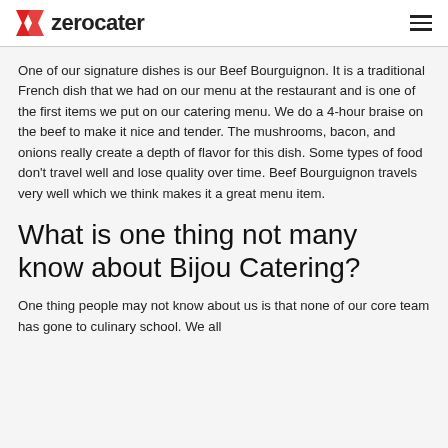zerocater
One of our signature dishes is our Beef Bourguignon. It is a traditional French dish that we had on our menu at the restaurant and is one of the first items we put on our catering menu. We do a 4-hour braise on the beef to make it nice and tender. The mushrooms, bacon, and onions really create a depth of flavor for this dish. Some types of food don't travel well and lose quality over time. Beef Bourguignon travels very well which we think makes it a great menu item.
What is one thing not many know about Bijou Catering?
One thing people may not know about us is that none of our core team has gone to culinary school. We all